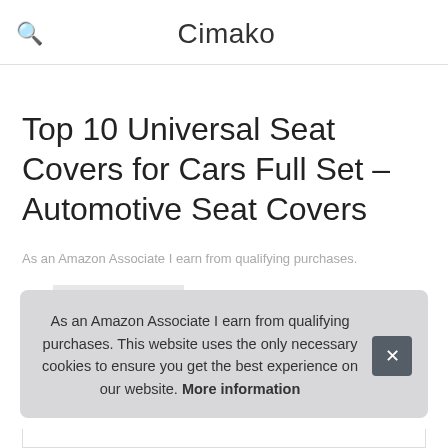Cimako
Top 10 Universal Seat Covers for Cars Full Set – Automotive Seat Covers
As an Amazon Associate I earn from qualifying purchases.
1. FH Group
#ad
As an Amazon Associate I earn from qualifying purchases. This website uses the only necessary cookies to ensure you get the best experience on our website. More information